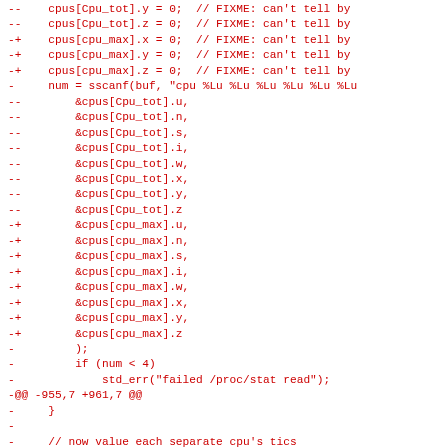-- cpus[Cpu_tot].y = 0;  // FIXME: can't tell by
-- cpus[Cpu_tot].z = 0;  // FIXME: can't tell by
-+ cpus[cpu_max].x = 0;  // FIXME: can't tell by
-+ cpus[cpu_max].y = 0;  // FIXME: can't tell by
-+ cpus[cpu_max].z = 0;  // FIXME: can't tell by
-  num = sscanf(buf, "cpu %Lu %Lu %Lu %Lu %Lu %Lu
--      &cpus[Cpu_tot].u,
--      &cpus[Cpu_tot].n,
--      &cpus[Cpu_tot].s,
--      &cpus[Cpu_tot].i,
--      &cpus[Cpu_tot].w,
--      &cpus[Cpu_tot].x,
--      &cpus[Cpu_tot].y,
--      &cpus[Cpu_tot].z
-+      &cpus[cpu_max].u,
-+      &cpus[cpu_max].n,
-+      &cpus[cpu_max].s,
-+      &cpus[cpu_max].i,
-+      &cpus[cpu_max].w,
-+      &cpus[cpu_max].x,
-+      &cpus[cpu_max].y,
-+      &cpus[cpu_max].z
-       );
-       if (num < 4)
-           std_err("failed /proc/stat read");
-@@ -955,7 +961,7 @@
-   }
-
-   // now value each separate cpu's tics
-- for (i = 0; i < Cpu_tot && i < Cpu_tot; i++)